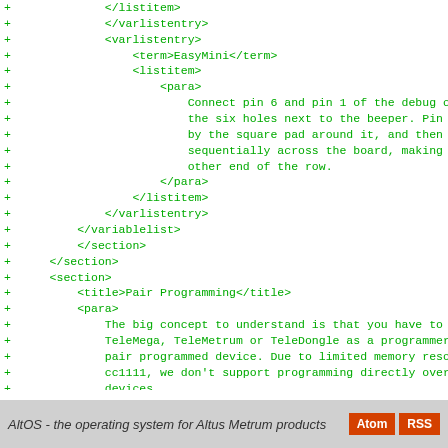[Figure (screenshot): Code diff view showing XML markup for AltOS documentation, with green plus signs indicating added lines. Content includes varlistentry/term/listitem/para tags with text about EasyMini debug connector pin connections, Pair Programming section, and Updating TeleMetrum v1.x Firmware section.]
AltOS - the operating system for Altus Metrum products  Atom  RSS